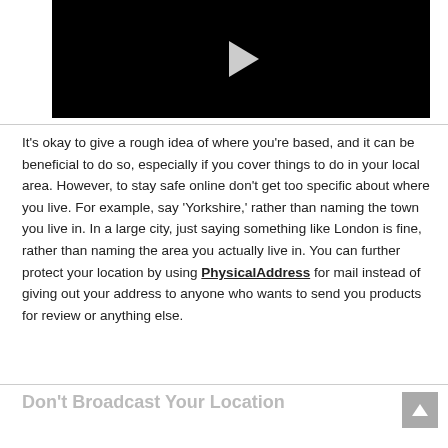[Figure (screenshot): Black video player with a white/light gray play button triangle in the center]
It's okay to give a rough idea of where you're based, and it can be beneficial to do so, especially if you cover things to do in your local area. However, to stay safe online don't get too specific about where you live. For example, say 'Yorkshire,' rather than naming the town you live in. In a large city, just saying something like London is fine, rather than naming the area you actually live in. You can further protect your location by using PhysicalAddress for mail instead of giving out your address to anyone who wants to send you products for review or anything else.
Don't Broadcast Your Location